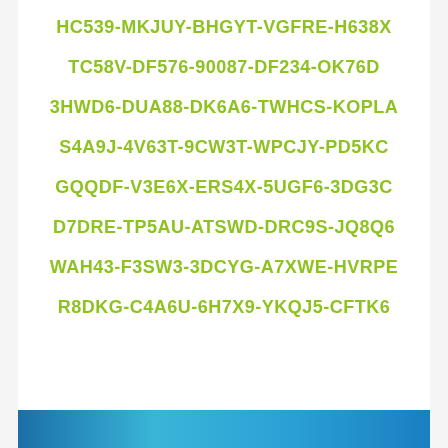HC539-MKJUY-BHGYT-VGFRE-H638X
TC58V-DF576-90087-DF234-OK76D
3HWD6-DUA88-DK6A6-TWHCS-KOPLA
S4A9J-4V63T-9CW3T-WPCJY-PD5KC
GQQDF-V3E6X-ERS4X-5UGF6-3DG3C
D7DRE-TP5AU-ATSWD-DRC9S-JQ8Q6
WAH43-F3SW3-3DCYG-A7XWE-HVRPE
R8DKG-C4A6U-6H7X9-YKQJ5-CFTK6
[Figure (photo): Partial image at the bottom of the page showing a blue-toned scene]